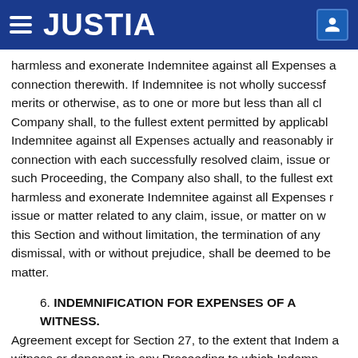JUSTIA
harmless and exonerate Indemnitee against all Expenses a connection therewith. If Indemnitee is not wholly successf merits or otherwise, as to one or more but less than all cl Company shall, to the fullest extent permitted by applicabl Indemnitee against all Expenses actually and reasonably ir connection with each successfully resolved claim, issue or such Proceeding, the Company also shall, to the fullest ext harmless and exonerate Indemnitee against all Expenses r issue or matter related to any claim, issue, or matter on w this Section and without limitation, the termination of any dismissal, with or without prejudice, shall be deemed to be matter.
6. INDEMNIFICATION FOR EXPENSES OF A WITNESS.
Agreement except for Section 27, to the extent that Indem a witness or deponent in any Proceeding to which Indemn made a party, he or she shall, to the fullest extent permitte be to be compensated against all Expenses actually all